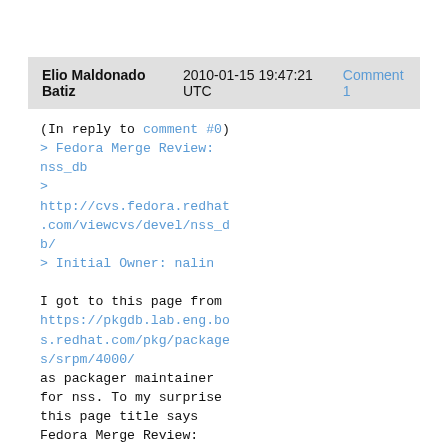Elio Maldonado Batiz   2010-01-15 19:47:21 UTC   Comment 1
(In reply to comment #0)
> Fedora Merge Review: nss_db
> http://cvs.fedora.redhat.com/viewcvs/devel/nss_db/
> Initial Owner: nalin

I got to this page from https://pkgdb.lab.eng.bos.redhat.com/pkg/packages/srpm/4000/ as packager maintainer for nss. To my surprise this page title says Fedora Merge Review: nss_db. Is this the right page? Maybe the bug numbers got crossed.